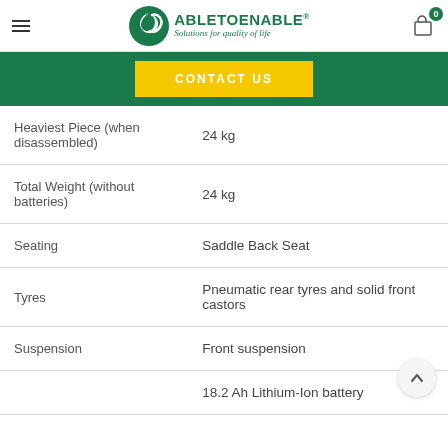AbleToEnable - Solutions for quality of life
CONTACT US
| Specification | Value |
| --- | --- |
| Heaviest Piece (when disassembled) | 24 kg |
| Total Weight (without batteries) | 24 kg |
| Seating | Saddle Back Seat |
| Tyres | Pneumatic rear tyres and solid front castors |
| Suspension | Front suspension |
|  | 18.2 Ah Lithium-Ion battery |